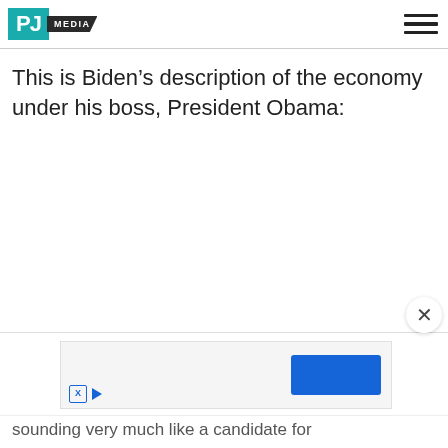PJ MEDIA
This is Biden’s description of the economy under his boss, President Obama:
[Figure (screenshot): Advertisement overlay with blue button and ad controls]
sounding very much like a candidate for